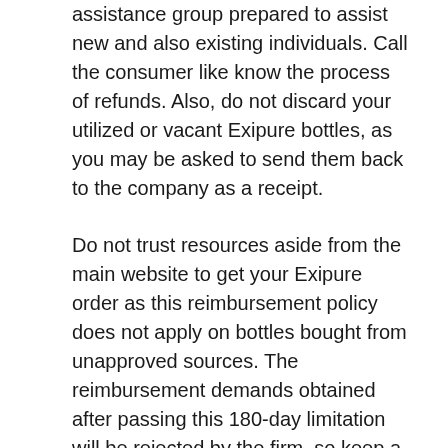assistance group prepared to assist new and also existing individuals. Call the consumer like know the process of refunds. Also, do not discard your utilized or vacant Exipure bottles, as you may be asked to send them back to the company as a receipt.
Do not trust resources aside from the main website to get your Exipure order as this reimbursement policy does not apply on bottles bought from unapproved sources. The reimbursement demands obtained after passing this 180-day limitation will be rejected by the firm, so keep a track of this time.
Directions To Utilize Exipure